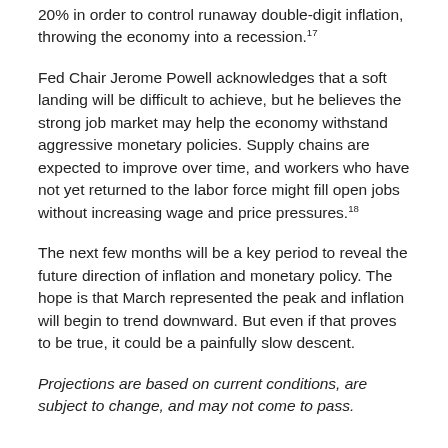20% in order to control runaway double-digit inflation, throwing the economy into a recession.[17]
Fed Chair Jerome Powell acknowledges that a soft landing will be difficult to achieve, but he believes the strong job market may help the economy withstand aggressive monetary policies. Supply chains are expected to improve over time, and workers who have not yet returned to the labor force might fill open jobs without increasing wage and price pressures.[18]
The next few months will be a key period to reveal the future direction of inflation and monetary policy. The hope is that March represented the peak and inflation will begin to trend downward. But even if that proves to be true, it could be a painfully slow descent.
Projections are based on current conditions, are subject to change, and may not come to pass.